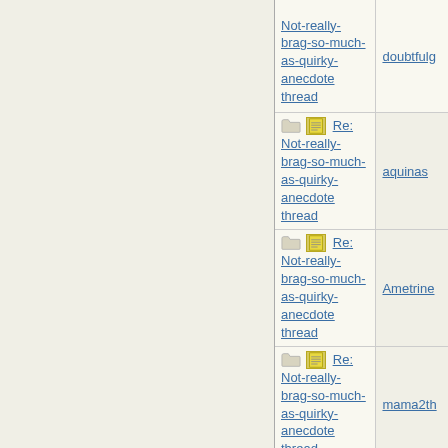| Subject | Author |
| --- | --- |
| Not-really-brag-so-much-as-quirky-anecdote thread | doubtfulg |
| Re: Not-really-brag-so-much-as-quirky-anecdote thread | aquinas |
| Re: Not-really-brag-so-much-as-quirky-anecdote thread | Ametrine |
| Re: Not-really-brag-so-much-as-quirky-anecdote thread | mama2th |
| Re: Not-really-brag-so-much-as-quirky-anecdote thread | mnmom2 |
| Re: Not-really-brag-so-much-as-quirky-anecdote thread | kelly0523 |
| Re: Not-really... |  |